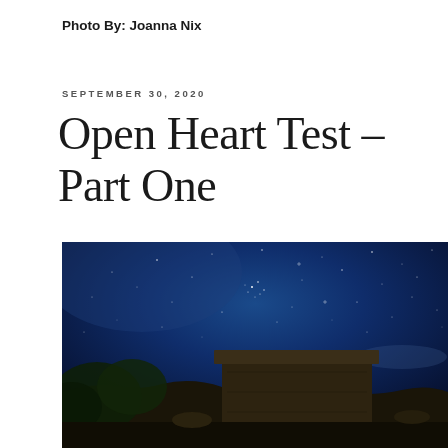Photo By: Joanna Nix
SEPTEMBER 30, 2020
Open Heart Test – Part One
[Figure (photo): Night sky photograph showing a stone building/ruins in the lower portion with a dark blue starry sky above, scattered stars visible throughout]